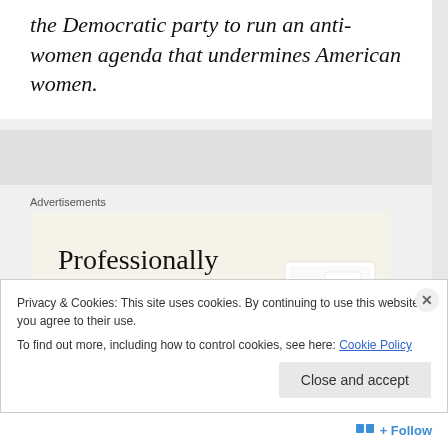the Democratic party to run an anti-women agenda that undermines American women.
Advertisements
[Figure (illustration): Advertisement for professionally designed websites: beige background with large serif text reading 'Professionally designed sites in less than a week', a green button below, and mockup images of website/device screens on the right.]
Privacy & Cookies: This site uses cookies. By continuing to use this website, you agree to their use.
To find out more, including how to control cookies, see here: Cookie Policy
Close and accept